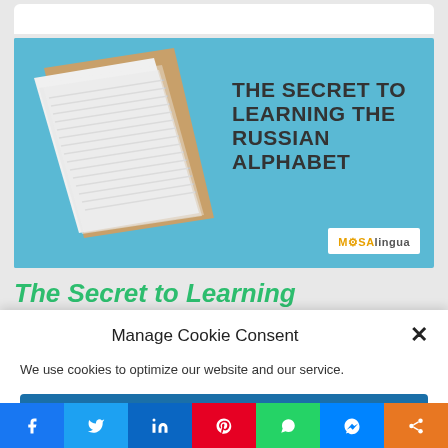[Figure (photo): Open book with pages fanned out against a blue background, with text overlay reading 'THE SECRET TO LEARNING THE RUSSIAN ALPHABET' and MosaLingua branding]
The Secret to Learning
Manage Cookie Consent
We use cookies to optimize our website and our service.
Accept
[Figure (infographic): Social media sharing bar with Facebook, Twitter, LinkedIn, Pinterest, WhatsApp, Messenger, and Share buttons]